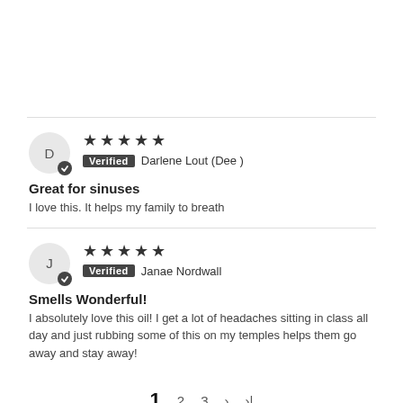Review 1 - Avatar: D, 5 stars, Verified, Darlene Lout (Dee), Great for sinuses, I love this. It helps my family to breath
Review 2 - Avatar: J, 5 stars, Verified, Janae Nordwall, Smells Wonderful!, I absolutely love this oil! I get a lot of headaches sitting in class all day and just rubbing some of this on my temples helps them go away and stay away!
Pagination: 1 2 3 > >|